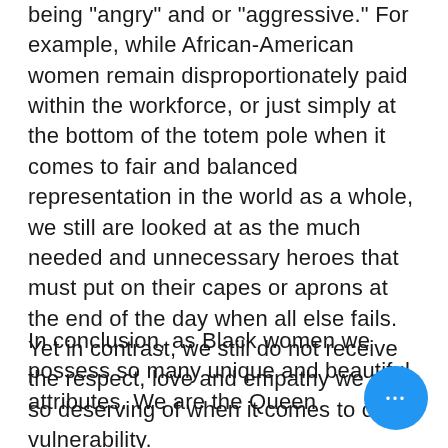being "angry" and or "aggressive." For example, while African-American women remain disproportionately paid within the workforce, or just simply at the bottom of the totem pole when it comes to fair and balanced representation in the world as a whole, we still are looked at as the much needed and unnecessary heroes that must put on their capes or aprons at the end of the day when all else fails. Yet in contrast, we still do not receive the respect, love and empathy we are so deserving of when it comes to our vulnerability.
In conclusion, as Black women we possess so many unique and beautiful attributes. We are the Queen
[Figure (other): Blue circular button with three white dots (ellipsis/more options button) overlaid on bottom-right area of the page]